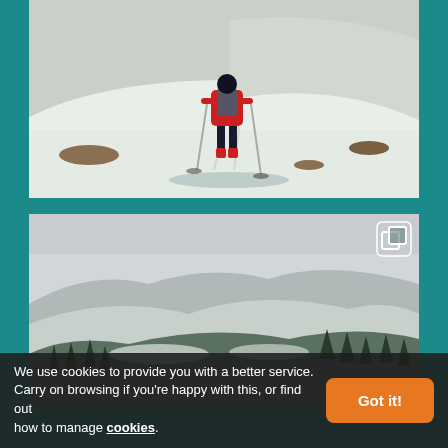[Figure (photo): A person in a red jacket and black pants with a backpack, standing on a snowy mountain slope with trekking poles, viewed from behind. Snow-covered terrain with patches of brown grass visible.]
[Figure (photo): A panoramic view of snow-covered mountain ridges with conifer trees on the slopes under an overcast grey sky. A small expand/fullscreen icon is visible in the top right corner of the image.]
We use cookies to provide you with a better service. Carry on browsing if you're happy with this, or find out how to manage cookies.